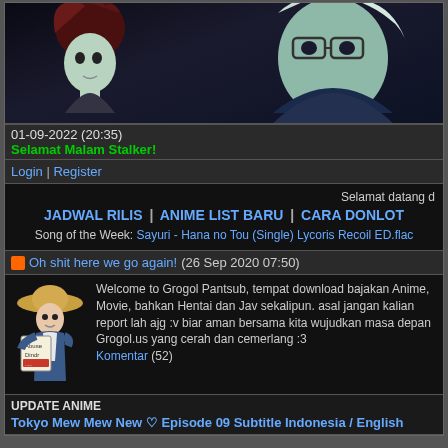[Figure (illustration): Anime banner image with two characters on dark background - left character has red/brown hair, right character wears glasses and dark outfit]
01-09-2022 (20:35)
Selamat Malam Stalker!
Login | Register
Selamat datang d
JADWAL RILIS | ANIME LIST BARU | CARA DONLOT
Song of the Week: Sayuri - Hana no Tou (Single) Lycoris Recoil ED.flac
Oh shit here we go again! (26 Sep 2020 07:50)
[Figure (illustration): Anime character illustration holding a sign, wearing straw hat]
Welcome to Grogol Pantsub, tempat download bajakan Anime, Movie, bahkan Hentai dan Jav sekalipun. asal jangan kalian report lah ajg :v biar aman bersama kita wujudkan masa depan Grogol.us yang cerah dan cemerlang :3
Komentar (52)
UPDATE ANIME
Tokyo Mew Mew New ♡ Episode 09 Subtitle Indonesia / English